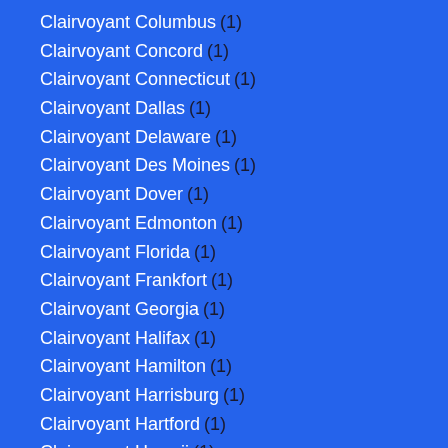Clairvoyant Columbus (1)
Clairvoyant Concord (1)
Clairvoyant Connecticut (1)
Clairvoyant Dallas (1)
Clairvoyant Delaware (1)
Clairvoyant Des Moines (1)
Clairvoyant Dover (1)
Clairvoyant Edmonton (1)
Clairvoyant Florida (1)
Clairvoyant Frankfort (1)
Clairvoyant Georgia (1)
Clairvoyant Halifax (1)
Clairvoyant Hamilton (1)
Clairvoyant Harrisburg (1)
Clairvoyant Hartford (1)
Clairvoyant Hawaii (1)